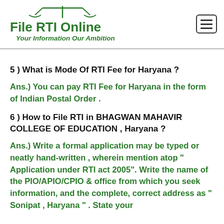File RTI Online — Your Information Our Ambition
5 ) What is Mode Of RTI Fee for Haryana ?
Ans.) You can pay RTI Fee for Haryana in the form of Indian Postal Order .
6 ) How to File RTI in BHAGWAN MAHAVIR COLLEGE OF EDUCATION , Haryana ?
Ans.) Write a formal application may be typed or neatly hand-written , wherein mention atop " Application under RTI act 2005". Write the name of the PIO/APIO/CPIO & office from which you seek information, and the complete, correct address as " Sonipat , Haryana " . State your